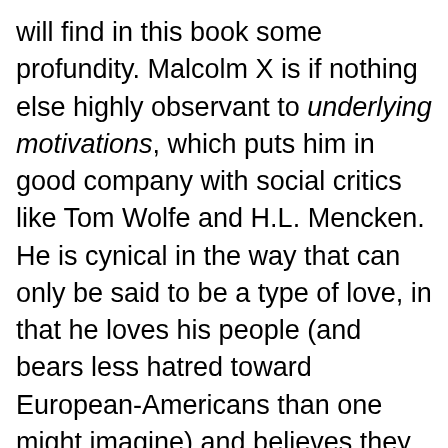will find in this book some profundity. Malcolm X is if nothing else highly observant to underlying motivations, which puts him in good company with social critics like Tom Wolfe and H.L. Mencken. He is cynical in the way that can only be said to be a type of love, in that he loves his people (and bears less hatred toward European-Americans than one might imagine) and believes they can do better.
Alex Haley did a good job with this book by letting us hear Malcolm X at his analytical best; he may have pasted together some of